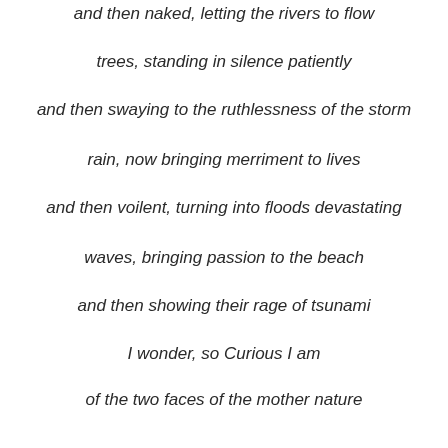and then naked, letting the rivers to flow
trees, standing in silence patiently
and then swaying to the ruthlessness of the storm
rain, now bringing merriment to lives
and then voilent, turning into floods devastating
waves, bringing passion to the beach
and then showing their rage of tsunami
I wonder, so Curious I am
of the two faces of the mother nature
someone help me understand
be kind to feed my inquisitiveness